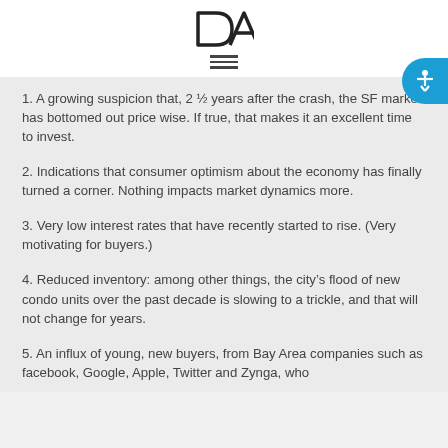DA logo and navigation menu
1. A growing suspicion that, 2 ½ years after the crash, the SF market has bottomed out price wise. If true, that makes it an excellent time to invest.
2. Indications that consumer optimism about the economy has finally turned a corner. Nothing impacts market dynamics more.
3. Very low interest rates that have recently started to rise. (Very motivating for buyers.)
4. Reduced inventory: among other things, the city's flood of new condo units over the past decade is slowing to a trickle, and that will not change for years.
5. An influx of young, new buyers, from Bay Area companies such as facebook, Google, Apple, Twitter and Zynga, who